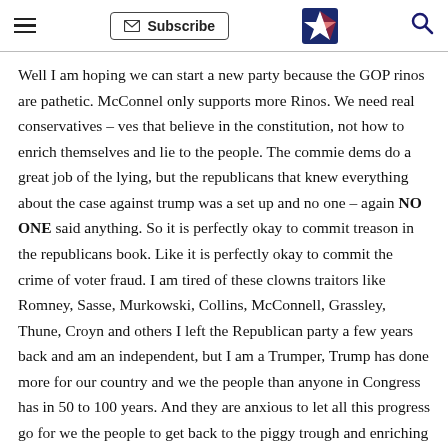Subscribe [logo] [search]
Well I am hoping we can start a new party because the GOP rinos are pathetic. McConnel only supports more Rinos. We need real conservatives – ves that believe in the constitution, not how to enrich themselves and lie to the people. The commie dems do a great job of the lying, but the republicans that knew everything about the case against trump was a set up and no one – again NO ONE said anything. So it is perfectly okay to commit treason in the republicans book. Like it is perfectly okay to commit the crime of voter fraud. I am tired of these clowns traitors like Romney, Sasse, Murkowski, Collins, McConnell, Grassley, Thune, Croyn and others I left the Republican party a few years back and am an independent, but I am a Trumper, Trump has done more for our country and we the people than anyone in Congress has in 50 to 100 years. And they are anxious to let all this progress go for we the people to get back to the piggy trough and enriching themselves. Anyone